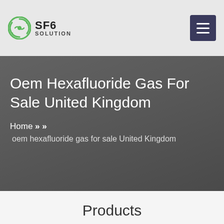[Figure (logo): SF6 Solution company logo with circular green icon and text SF6 SOLUTION]
SF6 SOLUTION
Oem Hexafluoride Gas For Sale United Kingdom
Home » » oem hexafluoride gas for sale United Kingdom
Products